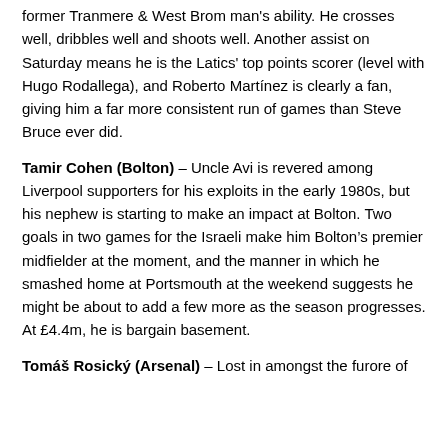former Tranmere & West Brom man's ability. He crosses well, dribbles well and shoots well. Another assist on Saturday means he is the Latics' top points scorer (level with Hugo Rodallega), and Roberto Martínez is clearly a fan, giving him a far more consistent run of games than Steve Bruce ever did.
Tamir Cohen (Bolton) – Uncle Avi is revered among Liverpool supporters for his exploits in the early 1980s, but his nephew is starting to make an impact at Bolton. Two goals in two games for the Israeli make him Bolton's premier midfielder at the moment, and the manner in which he smashed home at Portsmouth at the weekend suggests he might be about to add a few more as the season progresses. At £4.4m, he is bargain basement.
Tomáš Rosický (Arsenal) – Lost in amongst the furore of